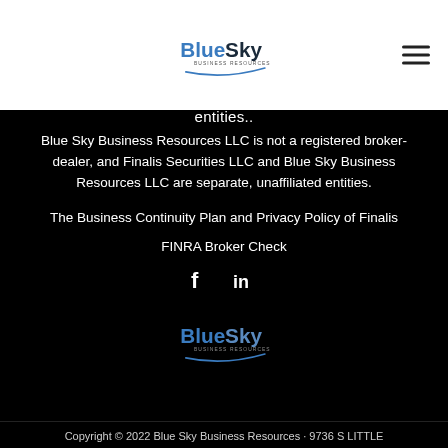[Figure (logo): Blue Sky Business Resources LLC logo in top navigation bar]
entities..
Blue Sky Business Resources LLC is not a registered broker-dealer, and Finalis Securities LLC and Blue Sky Business Resources LLC are separate, unaffiliated entities.
The Business Continuity Plan and Privacy Policy of Finalis
FINRA Broker Check
[Figure (illustration): Facebook and LinkedIn social media icons]
[Figure (logo): Blue Sky Business Resources LLC logo (bottom)]
Copyright © 2022 Blue Sky Business Resources · 9736 S LITTLE